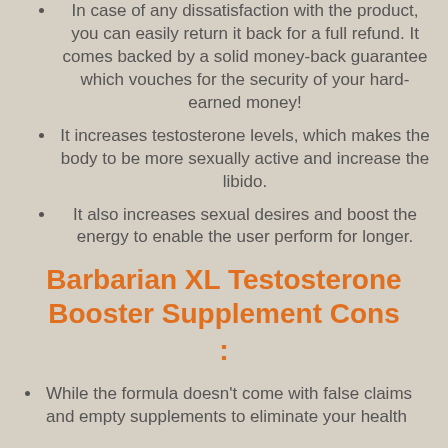In case of any dissatisfaction with the product, you can easily return it back for a full refund. It comes backed by a solid money-back guarantee which vouches for the security of your hard-earned money!
It increases testosterone levels, which makes the body to be more sexually active and increase the libido.
It also increases sexual desires and boost the energy to enable the user perform for longer.
Barbarian XL Testosterone Booster Supplement Cons:
While the formula doesn’t come with false claims and empty supplements to eliminate your health problems, we doubt it is means above conditions